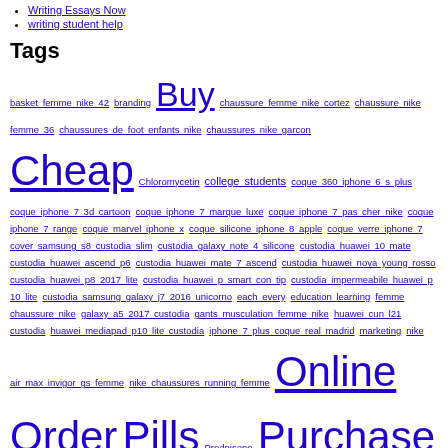Writing Essays Now
writing student help
Tags
basket femme nike 42 branding Buy chaussure femme nike cortez chaussure nike femme 36 chaussures de foot enfants nike chaussures nike garcon Cheap Chloromycetin college students coque 360 iphone 6 s plus coque iphone 7 3d cartoon coque iphone 7 marque luxe coque iphone 7 pas cher nike coque iphone 7 range coque marvel iphone x coque silicone iphone 8 apple coque verre iphone 7 cover samsung s8 custodia slim custodia galaxy note 4 silicone custodia huawei 10 mate custodia huawei ascend p6 custodia huawei mate 7 ascend custodia huawei nova young rosso custodia huawei p8 2017 lite custodia huawei p smart con tip custodia impermeabile huawei p 10 lite custodia samsung galaxy j7 2016 unicorno each every education learning femme chaussure nike galaxy a5 2017 custodia gants musculation femme nike huawei cun l21 custodia huawei mediapad p10 lite custodia iphone 7 plus coque real madrid marketing nike air max invigor gs femme nike chaussures running femme Online Order Pills Prednisone Purchase stationery
Bprint.co.za Blog is proudly powered by WordPress Entries (RSS) and Comments (RSS).